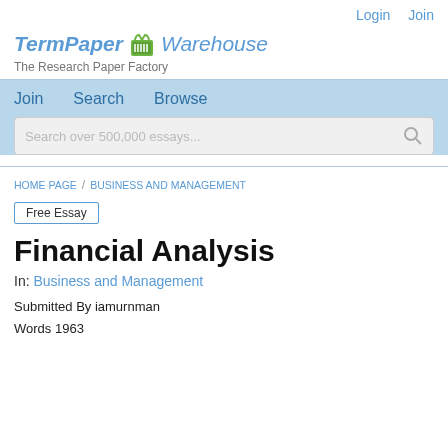Login   Join
[Figure (logo): TermPaper (basket icon) Warehouse logo in italic blue text]
The Research Paper Factory
Join   Search   Browse
Search over 500,000 essays...
HOME PAGE / BUSINESS AND MANAGEMENT
Free Essay
Financial Analysis
In: Business and Management
Submitted By iamurnman
Words 1963